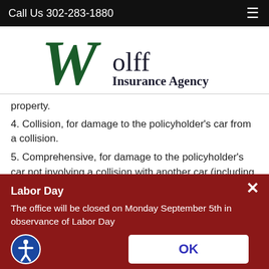Call Us 302-283-1880
[Figure (logo): Wolff Insurance Agency logo — large dark green stylized W with 'olff' and 'Insurance Agency' text]
property.
4. Collision, for damage to the policyholder's car from a collision.
5. Comprehensive, for damage to the policyholder's car not involving a collision with another car (including damage from
Labor Day
The office will be closed on Monday September 5th in observance of Labor Day
OK